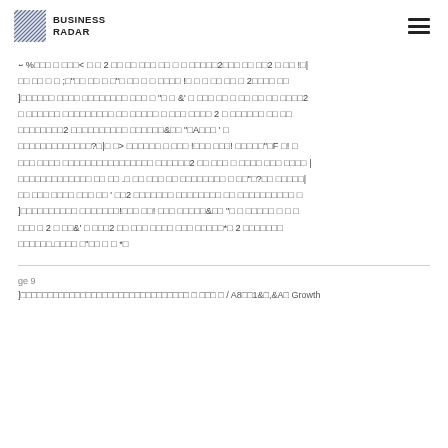BUSINESS RADAR
ꟷ %□□□ □ □□□< □ □ 2 □□ □□ □□□ □□ □ □ □□□□□2□□□ □□ □□2 □ □□ !□| □□ □□ □ □ ;□"□□ □□ □ □"□ □□ □ □ □□□□ !□ □ □ □□ □□ □ 2□□□□ □□ ]□□□□□□ □□□□ □□□□□□□□ □□□ □ "□ □ &' □ □□□ □□ □ □□ □□ □□ □□□□2 □ □□□□□□ □□□□□□□□□ □□ □□□□□ □ □□□ □□□□ 2 □ □□□□□□ □□ □□ □□□□□□□□2 □□□□□□□□□□ □□□□□□&□□ "□A□□□ ' □ □□□□□□□□□□□□□?□|□ □> □□□□□□ □ □□□ !□□□ □□□! □□□□□"□F □! □ □□□ □□□□ □□□□□□□□□□□□□□□□ □□□□□□2 □□ □□□ □ □□□□ □□□ □□□□ | □□□□□□□□□□□□□ □□ □□ .□ □□ □□□ □□ □□□□□□□□ □ □□"□?□□ □□□□□| □□ □□□ □□□□ □□□ □□ ' □□2 □□□□□□□ □□□□□□□□ □□ □□□□□□□□□□ □ ]□□□□□□□□□□ □□□□□□□!□□□ □□! □□□ □□□□□&□□ "□ □ □□□□□ □ □ □ □□□ □ 2 □ □□&' □ □□□2 □□ □□□ □□□□ □□□ □□□□□*□ 2 □□□□□□□ □□□□□□.□□□□ □"□□ □ □ *□
ge 9
]□□□□□□□□□□□□□□□□□□□□□□□□□□□□□□□ □ □□□ □ / A8□□1&□,&A□ Growth